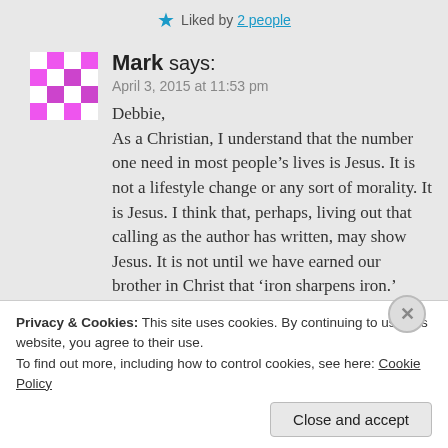Liked by 2 people
Mark says:
April 3, 2015 at 11:53 pm

Debbie,
As a Christian, I understand that the number one need in most people's lives is Jesus. It is not a lifestyle change or any sort of morality. It is Jesus. I think that, perhaps, living out that calling as the author has written, may show Jesus. It is not until we have earned our brother in Christ that ‘iron sharpens iron.’
Privacy & Cookies: This site uses cookies. By continuing to use this website, you agree to their use.
To find out more, including how to control cookies, see here: Cookie Policy
Close and accept